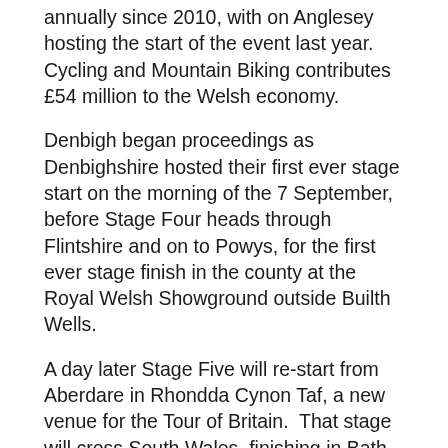annually since 2010, with on Anglesey hosting the start of the event last year. Cycling and Mountain Biking contributes £54 million to the Welsh economy.
Denbigh began proceedings as Denbighshire hosted their first ever stage start on the morning of the 7 September, before Stage Four heads through Flintshire and on to Powys, for the first ever stage finish in the county at the Royal Welsh Showground outside Builth Wells.
A day later Stage Five will re-start from Aberdare in Rhondda Cynon Taf, a new venue for the Tour of Britain.  That stage will cross South Wales, finishing in Bath.
Eight medallists from the Rio Olympics headline the start list for the 2016 Tour of Britain, a trio of Gold medallists in Sir Bradley Wiggins, Owain